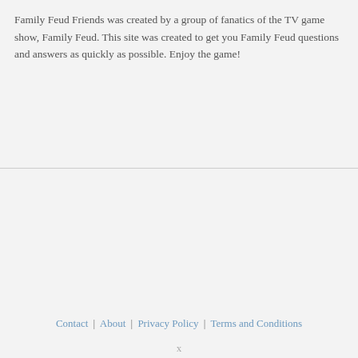Family Feud Friends was created by a group of fanatics of the TV game show, Family Feud. This site was created to get you Family Feud questions and answers as quickly as possible. Enjoy the game!
Contact | About | Privacy Policy | Terms and Conditions